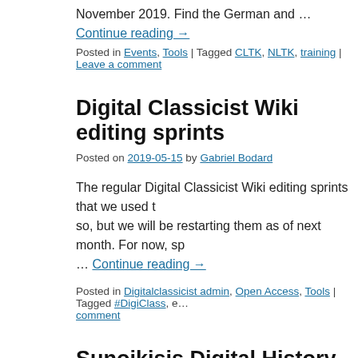November 2019. Find the German and … Continue reading →
Posted in Events, Tools | Tagged CLTK, NLTK, training | Leave a comment
Digital Classicist Wiki editing sprints
Posted on 2019-05-15 by Gabriel Bodard
The regular Digital Classicist Wiki editing sprints that we used to so, but we will be restarting them as of next month. For now, sp … Continue reading →
Posted in Digitalclassicist admin, Open Access, Tools | Tagged #DigiClass, e… Leave a comment
Sunoikisis Digital History and Archaeolog…
Posted on 2016-10-05 by Gabriel Bodard
The fall programme of the Sunoikisis Digital Classics course ha… via YouTube on Thursdays at 16h00 UK/11h00 New York. This … space and heritage data, run in parallel with courses taught at…